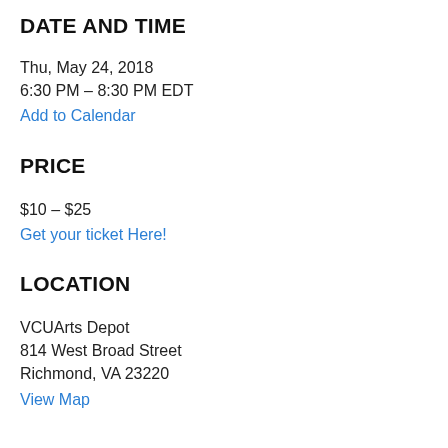DATE AND TIME
Thu, May 24, 2018
6:30 PM – 8:30 PM EDT
Add to Calendar
PRICE
$10 – $25
Get your ticket Here!
LOCATION
VCUArts Depot
814 West Broad Street
Richmond, VA 23220
View Map